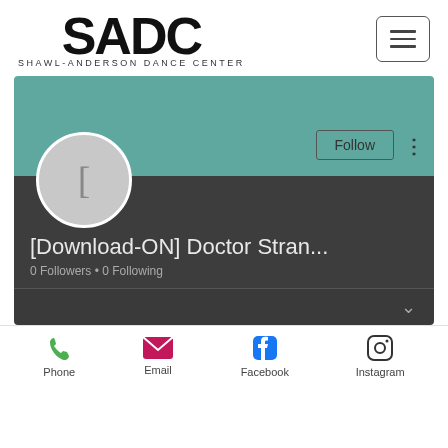[Figure (logo): SADC Shawl-Anderson Dance Center logo with large letters SADC and subtitle text, plus a hamburger menu button]
[Figure (screenshot): Profile card on dark background showing avatar circle with '[', profile name '[Download-ON] Doctor Stran...', '0 Followers • 0 Following', Follow button, and three-dot menu]
Phone    Email    Facebook    Instagram